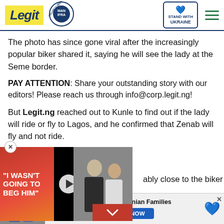Legit | WAN IFRA 2021 Best News Website in Africa | Stand with Ukraine
The photo has since gone viral after the increasingly popular biker shared it, saying he will see the lady at the Seme border.
PAY ATTENTION: Share your outstanding story with our editors! Please reach us through info@corp.legit.ng!
But Legit.ng reached out to Kunle to find out if the lady will ride or fly to Lagos, and he confirmed that Zenab will fly and not ride.
[Figure (screenshot): Video overlay with red background, quote text 'I WASN'T GOING TO BEG HIM', play button, and photo of two people]
ably close to the biker has been n course and is billed to be in ay 29th.
[Figure (infographic): Advertisement bar: Help Protect Ukrainian Families with Donate Now button and Ukraine heart flag icon]